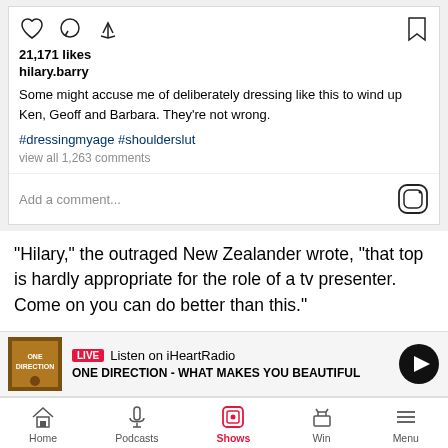[Figure (screenshot): Instagram post interaction icons: heart, comment bubble, share arrow (left), and bookmark (right)]
21,171 likes
hilary.barry
Some might accuse me of deliberately dressing like this to wind up Ken, Geoff and Barbara. They're not wrong.
#dressingmyage #shoulderslut
view all 1,263 comments
Add a comment...
"Hilary," the outraged New Zealander wrote, "that top is hardly appropriate for the role of a tv presenter. Come on you can do better than this."
LIVE Listen on iHeartRadio
ONE DIRECTION - WHAT MAKES YOU BEAUTIFUL
Home  Podcasts  Shows  Win  Menu